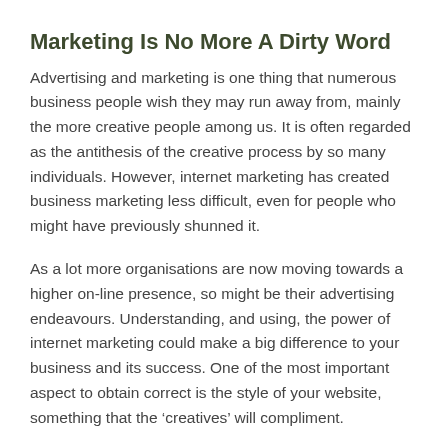Marketing Is No More A Dirty Word
Advertising and marketing is one thing that numerous business people wish they may run away from, mainly the more creative people among us. It is often regarded as the antithesis of the creative process by so many individuals. However, internet marketing has created business marketing less difficult, even for people who might have previously shunned it.
As a lot more organisations are now moving towards a higher on-line presence, so might be their advertising endeavours. Understanding, and using, the power of internet marketing could make a big difference to your business and its success. One of the most important aspect to obtain correct is the style of your website, something that the ‘creatives’ will compliment.